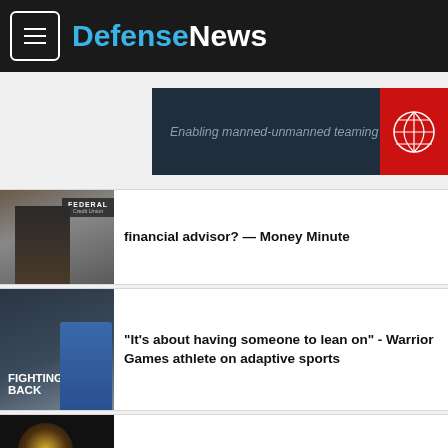DefenseNews
[Figure (screenshot): Advertisement banner: dark navy background with text 'Enabling manned-unmanned teaming' and red panel with geometric globe icon on the right]
[Figure (photo): Thumbnail of woman in black outfit in front of Federal Credit Union sign]
financial advisor? — Money Minute
[Figure (photo): Thumbnail with 'FIGHTING BACK' text overlay and woman in blue jacket]
"It's about having someone to lean on" - Warrior Games athlete on adaptive sports
[Figure (photo): Thumbnail with bright light/explosion and Defense News logo overlay]
Ukrainians train in the U.K. and battle balloons | Defense News Weekly full episode 8.20.22